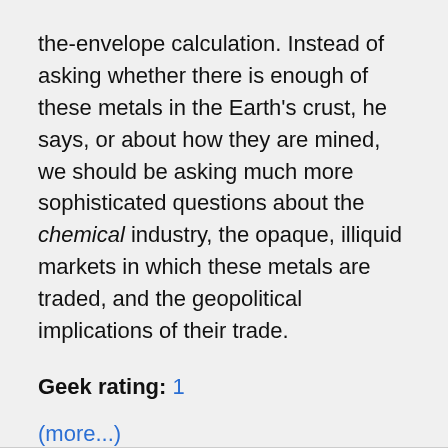the-envelope calculation. Instead of asking whether there is enough of these metals in the Earth's crust, he says, or about how they are mined, we should be asking much more sophisticated questions about the chemical industry, the opaque, illiquid markets in which these metals are traded, and the geopolitical implications of their trade.
Geek rating: 1
(more...)